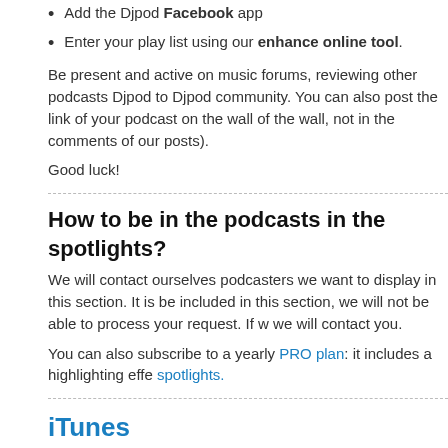Add the Djpod Facebook app
Enter your play list using our enhance online tool.
Be present and active on music forums, reviewing other podcasts Djpod to Djpod community. You can also post the link of your podcast on the wall of the wall, not in the comments of our posts).
Good luck!
How to be in the podcasts in the spotlights?
We will contact ourselves podcasters we want to display in this section. It is be included in this section, we will not be able to process your request. If w we will contact you.
You can also subscribe to a yearly PRO plan: it includes a highlighting effe spotlights.
iTunes
Why some changes do not appear immediately on iTu
iTunes is a kind of podcast directory, which contains millions of podcasts, s in real time.
This is why most of the time, a delay ranging from several hours to several change (change of title, image ...) to appear on iTunes.